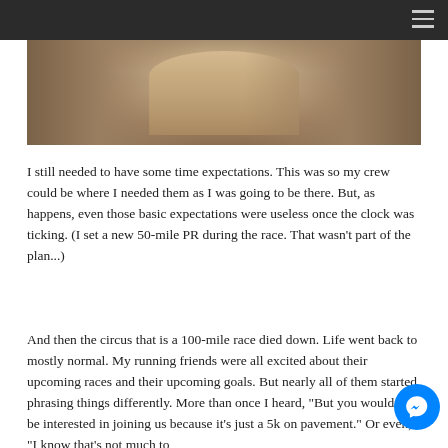[Figure (photo): A dirt trail path viewed from above, with sandy/earthy tones, flanked by rocky or grassy terrain on both sides, leading into the distance.]
I still needed to have some time expectations.  This was so my crew could be where I needed them as I was going to be there.  But, as happens, even those basic expectations were useless once the clock was ticking.  (I set a new 50-mile PR during the race.  That wasn't part of the plan...)
And then the circus that is a 100-mile race died down.  Life went back to mostly normal.  My running friends were all excited about their upcoming races and their upcoming goals.  But nearly all of them started phrasing things differently.  More than once I heard, "But you wouldn't be interested in joining us because it's just a 5k on pavement."  Or even, "I know that's not much to